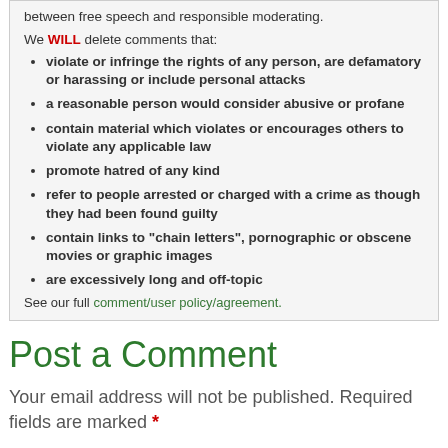between free speech and responsible moderating.
We WILL delete comments that:
violate or infringe the rights of any person, are defamatory or harassing or include personal attacks
a reasonable person would consider abusive or profane
contain material which violates or encourages others to violate any applicable law
promote hatred of any kind
refer to people arrested or charged with a crime as though they had been found guilty
contain links to "chain letters", pornographic or obscene movies or graphic images
are excessively long and off-topic
See our full comment/user policy/agreement.
Post a Comment
Your email address will not be published. Required fields are marked *